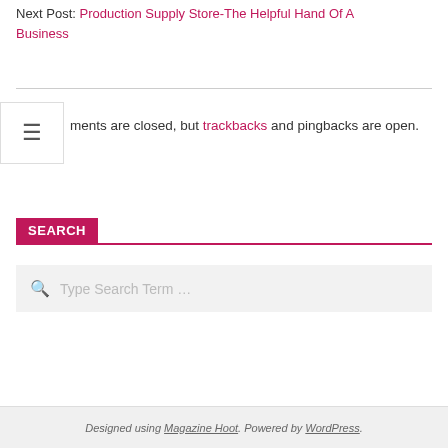Next Post: Production Supply Store-The Helpful Hand Of A Business
ments are closed, but trackbacks and pingbacks are open.
SEARCH
Type Search Term …
Designed using Magazine Hoot. Powered by WordPress.